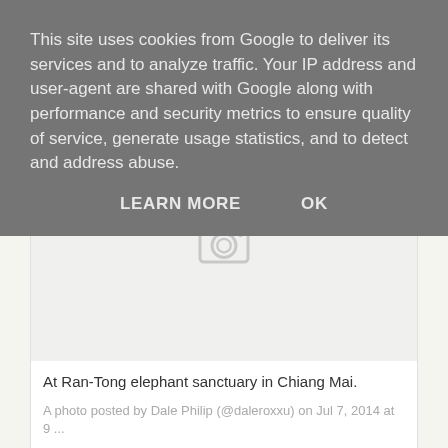This site uses cookies from Google to deliver its services and to analyze traffic. Your IP address and user-agent are shared with Google along with performance and security metrics to ensure quality of service, generate usage statistics, and to detect and address abuse.
LEARN MORE   OK
[Figure (screenshot): Instagram embed placeholder showing a camera icon on a light grey background]
At Ran-Tong elephant sanctuary in Chiang Mai.
A photo posted by Dale Philip (@daleroxxu) on Jul 7, 2014 at 9 ...